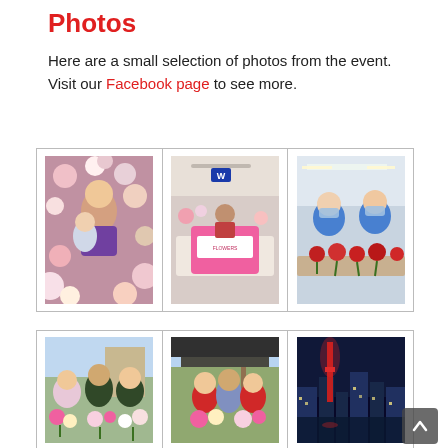Photos
Here are a small selection of photos from the event. Visit our Facebook page to see more.
[Figure (photo): Grid of three photos: a child among flowers looking up, a flower stall in a shopping centre with a pink promotional sign, and two workers in blue uniforms and masks arranging red roses.]
[Figure (photo): Grid of three photos: three school children holding flowers outdoors, two people in red shirts holding flowers beside a car, and a nighttime city skyline with an illuminated tower.]